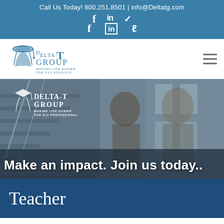Call Us Today! 800.251.8501 | info@Deltatg.com
[Figure (logo): Delta-T Group logo with graduation cap icon and tagline 'Making Life Easier for K12 Schools']
[Figure (photo): Hero banner showing two professionals (a woman and a man) in front of a building with stairs. Overlaid Delta-T Group logo and text: 'Making Life Easier For K12 Professionals'. Large white text at bottom: 'Make an impact. Join us today...']
Teacher